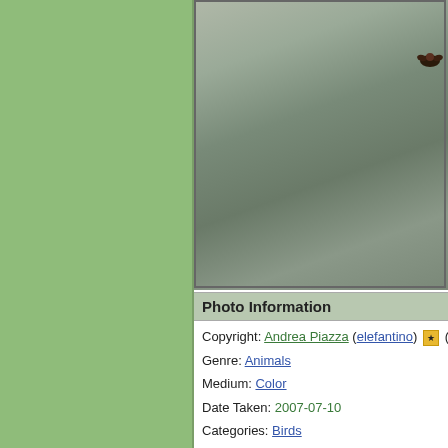[Figure (photo): Wildlife photo of a bird in flight over water, blurred background with muted greens and grays, bird visible in upper right corner]
Photo Information
Copyright: Andrea Piazza (elefantino) [icon] (14...
Genre: Animals
Medium: Color
Date Taken: 2007-07-10
Categories: Birds
Camera: Canon 1D MkII N, Canon EF 400mm...
Exposure: f/4, 1/8000 seconds